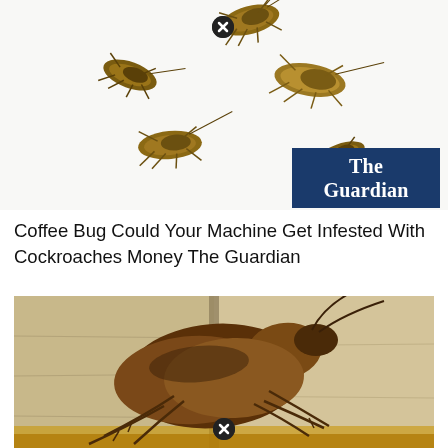[Figure (photo): Top-down view of multiple cockroaches on a white background, with a close button (X in circle) overlay near the top center]
[Figure (logo): The Guardian logo — white bold serif text 'The Guardian' on a dark navy blue rectangular background]
Coffee Bug Could Your Machine Get Infested With Cockroaches Money The Guardian
[Figure (photo): Close-up macro photo of a large brown cockroach on a stone/concrete surface, with a close button (X in circle) overlay near the bottom center]